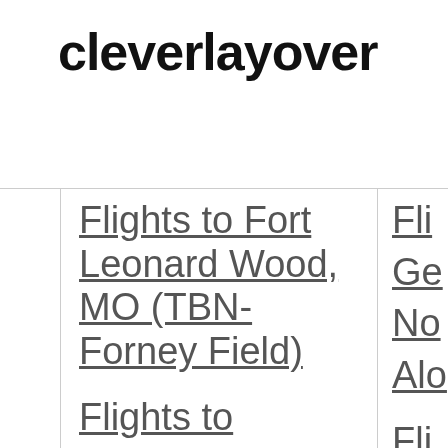cleverlayover
Flights to Fort Leonard Wood, MO (TBN-Forney Field)
Flights to
Fli Ge No Alo Fli Tr